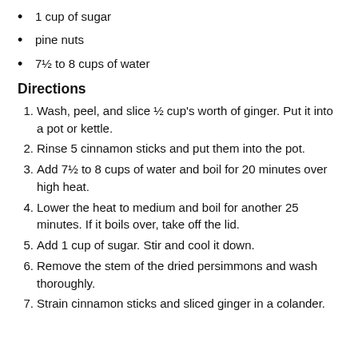1 cup of sugar
pine nuts
7½ to 8 cups of water
Directions
1. Wash, peel, and slice ½ cup's worth of ginger. Put it into a pot or kettle.
2. Rinse 5 cinnamon sticks and put them into the pot.
3. Add 7½ to 8 cups of water and boil for 20 minutes over high heat.
4. Lower the heat to medium and boil for another 25 minutes. If it boils over, take off the lid.
5. Add 1 cup of sugar. Stir and cool it down.
6. Remove the stem of the dried persimmons and wash thoroughly.
7. Strain cinnamon sticks and sliced ginger in a colander.